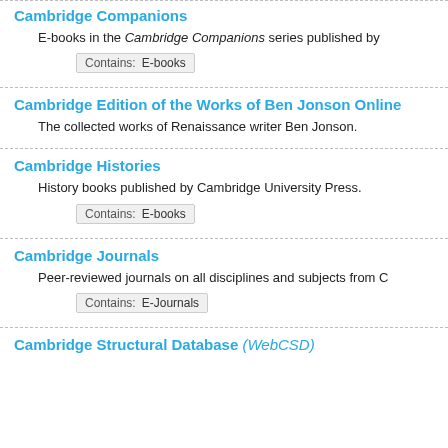Cambridge Companions
E-books in the Cambridge Companions series published by
Contains: E-books
Cambridge Edition of the Works of Ben Jonson Online
The collected works of Renaissance writer Ben Jonson.
Cambridge Histories
History books published by Cambridge University Press.
Contains: E-books
Cambridge Journals
Peer-reviewed journals on all disciplines and subjects from C
Contains: E-Journals
Cambridge Structural Database (WebCSD)